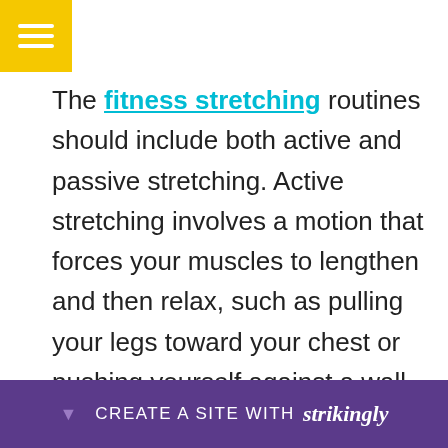[Figure (other): Yellow hamburger menu button in top-left corner with three white horizontal lines]
The fitness stretching routines should include both active and passive stretching. Active stretching involves a motion that forces your muscles to lengthen and then relax, such as pulling your legs toward your chest or pushing yourself against a wall. Passive stretching involves flexing or relaxing the muscles that are being stretched without actually making contact with any substance. Both kinds of stretching should be done in proper, correct, and comfortable positions, with an appropriate range of motion and full contraction of the muscles.
CREATE A SITE WITH strikingly